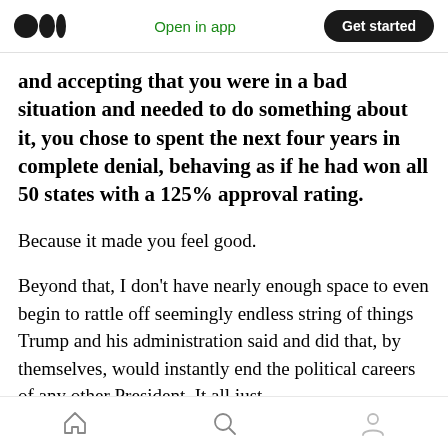Medium logo | Open in app | Get started
and accepting that you were in a bad situation and needed to do something about it, you chose to spent the next four years in complete denial, behaving as if he had won all 50 states with a 125% approval rating.
Because it made you feel good.
Beyond that, I don't have nearly enough space to even begin to rattle off seemingly endless string of things Trump and his administration said and did that, by themselves, would instantly end the political careers of any other President. It all just
Home | Search | Profile